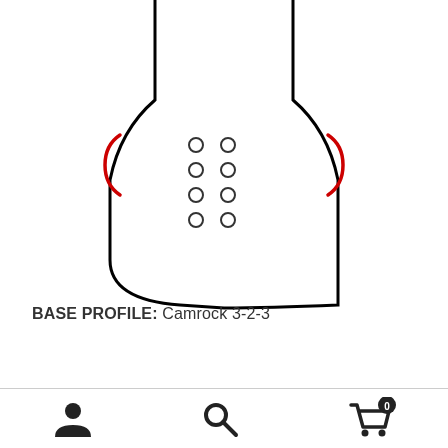[Figure (illustration): Top-down view of a ski or snowboard base profile showing the outline of the ski tip area with red bracket/camber indicators on the sides and 8 small circular holes/inserts arranged in two columns of 4 in the center.]
BASE PROFILE: Camrock 3-2-3
User icon, Search icon, Cart icon with badge showing 0